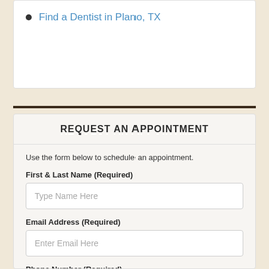Find a Dentist in Plano, TX
REQUEST AN APPOINTMENT
Use the form below to schedule an appointment.
First & Last Name (Required)
Type Name Here
Email Address (Required)
Enter Email Here
Phone Number (Required)
Enter Contact Number Here